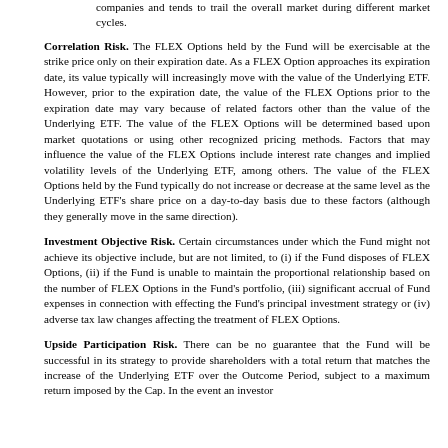companies and tends to trail the overall market during different market cycles.
Correlation Risk. The FLEX Options held by the Fund will be exercisable at the strike price only on their expiration date. As a FLEX Option approaches its expiration date, its value typically will increasingly move with the value of the Underlying ETF. However, prior to the expiration date, the value of the FLEX Options prior to the expiration date may vary because of related factors other than the value of the Underlying ETF. The value of the FLEX Options will be determined based upon market quotations or using other recognized pricing methods. Factors that may influence the value of the FLEX Options include interest rate changes and implied volatility levels of the Underlying ETF, among others. The value of the FLEX Options held by the Fund typically do not increase or decrease at the same level as the Underlying ETF's share price on a day-to-day basis due to these factors (although they generally move in the same direction).
Investment Objective Risk. Certain circumstances under which the Fund might not achieve its objective include, but are not limited, to (i) if the Fund disposes of FLEX Options, (ii) if the Fund is unable to maintain the proportional relationship based on the number of FLEX Options in the Fund's portfolio, (iii) significant accrual of Fund expenses in connection with effecting the Fund's principal investment strategy or (iv) adverse tax law changes affecting the treatment of FLEX Options.
Upside Participation Risk. There can be no guarantee that the Fund will be successful in its strategy to provide shareholders with a total return that matches the increase of the Underlying ETF over the Outcome Period, subject to a maximum return imposed by the Cap. In the event an investor